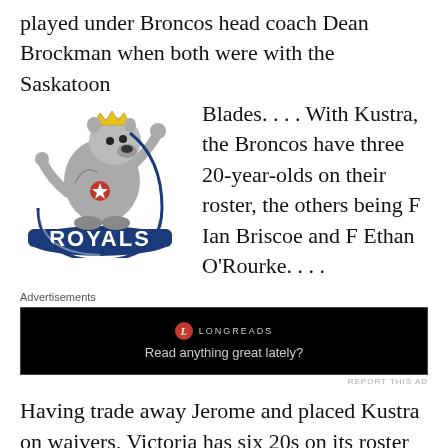played under Broncos head coach Dean Brockman when both were with the Saskatoon Blades. . . . With Kustra, the Broncos have three 20-year-olds on their roster, the others being F Ian Briscoe and F Ethan O'Rourke. . . .
[Figure (logo): Victoria Royals logo — a crowned bear/horse figure with 'ROYALS' text in blue]
Advertisements
[Figure (screenshot): Longreads advertisement — black background with Longreads logo and tagline 'Read anything great lately?']
REPORT THIS AD
Having trade away Jerome and placed Kustra on waivers, Victoria has six 20s on its roster — D Will Warm, who was acquired from the Edmonton Oil Kings on June 13, Belarusian F Igor Martynov, F Tanner Sidaway, who is from